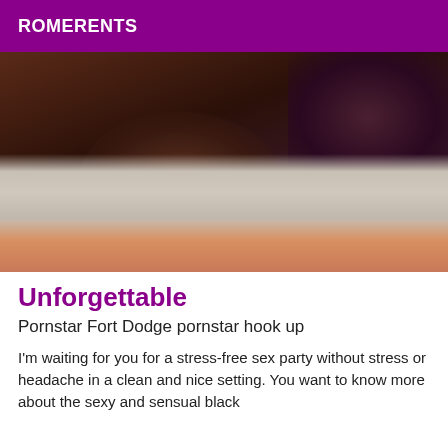ROMERENTS
[Figure (photo): Close-up photo showing dark textured background with fluffy/fur material in the lower portion and a pinkish/skin-toned area at the bottom]
Unforgettable
Pornstar Fort Dodge pornstar hook up
I'm waiting for you for a stress-free sex party without stress or headache in a clean and nice setting. You want to know more about the sexy and sensual black